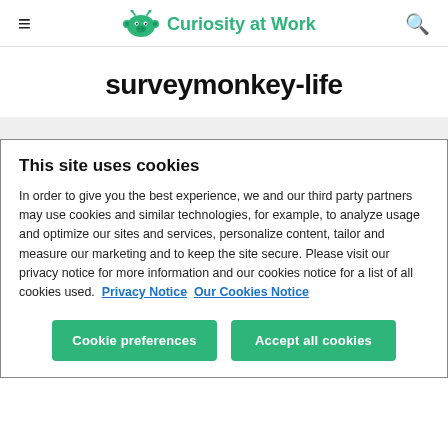≡  Curiosity at Work  🔍
surveymonkey-life
This site uses cookies
In order to give you the best experience, we and our third party partners may use cookies and similar technologies, for example, to analyze usage and optimize our sites and services, personalize content, tailor and measure our marketing and to keep the site secure. Please visit our privacy notice for more information and our cookies notice for a list of all cookies used.  Privacy Notice  Our Cookies Notice
Cookie preferences   Accept all cookies